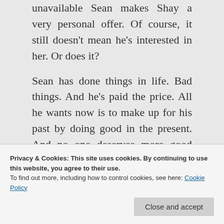unavailable Sean makes Shay a very personal offer. Of course, it still doesn't mean he's interested in her. Or does it?

Sean has done things in life. Bad things. And he's paid the price. All he wants now is to make up for his past by doing good in the present. And no one deserves more good than Shay. Beautiful on the inside and out, Shay is the kind of woman who should be cared for, and protected, especially from a
Privacy & Cookies: This site uses cookies. By continuing to use this website, you agree to their use.
To find out more, including how to control cookies, see here: Cookie Policy